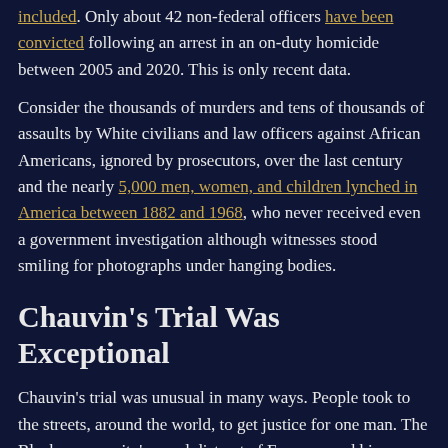included. Only about 42 non-federal officers have been convicted following an arrest in an on-duty homicide between 2005 and 2020. This is only recent data.
Consider the thousands of murders and tens of thousands of assaults by White civilians and law officers against African Americans, ignored by prosecutors, over the last century and the nearly 5,000 men, women, and children lynched in America between 1882 and 1968, who never received even a government investigation although witnesses stood smiling for photographs under hanging bodies.
Chauvin's Trial Was Exceptional
Chauvin's trial was unusual in many ways. People took to the streets, around the world, to get justice for one man. The Black community's vocal distrust of Freeman and his Hennepin County